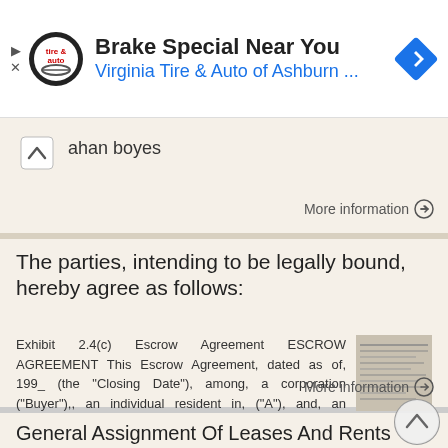[Figure (screenshot): Advertisement banner for Virginia Tire & Auto of Ashburn with logo and navigation arrow icon]
ahan boyes
More information →
The parties, intending to be legally bound, hereby agree as follows:
Exhibit 2.4(c) Escrow Agreement ESCROW AGREEMENT This Escrow Agreement, dated as of, 199_ (the "Closing Date"), among, a corporation ("Buyer"),, an individual resident in, ("A"), and, an individual resident
[Figure (screenshot): Thumbnail preview of document text]
More information →
General Assignment Of Leases And Rents